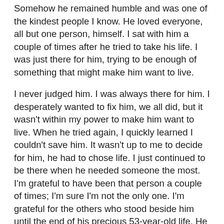Somehow he remained humble and was one of the kindest people I know. He loved everyone, all but one person, himself. I sat with him a couple of times after he tried to take his life. I was just there for him, trying to be enough of something that might make him want to live.
I never judged him. I was always there for him. I desperately wanted to fix him, we all did, but it wasn't within my power to make him want to live. When he tried again, I quickly learned I couldn't save him. It wasn't up to me to decide for him, he had to chose life. I just continued to be there when he needed someone the most. I'm grateful to have been that person a couple of times; I'm sure I'm not the only one. I'm grateful for the others who stood beside him until the end of his precious 53-year-old life. He is dearly loved and missed by so many. Sadly as much as he was loved, nobody could love him enough to save him.